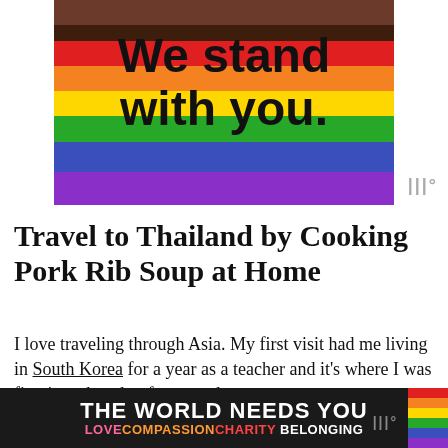[Figure (illustration): Progressive Pride flag with rainbow stripes (brown, dark brown, red, orange, yellow, green, blue, purple) with bold black text overlay reading 'We stand with you.']
Travel to Thailand by Cooking Pork Rib Soup at Home
I love traveling through Asia. My first visit had me living in South Korea for a year as a teacher and it's where I was first introduced to fermented ve...
[Figure (infographic): Advertisement banner: 'THE WORLD NEEDS YOU' in white bold on dark background with subtitle 'LOVE COMPASSION CHARITY BELONGING' in colored text, close button X, and rainbow stripe decoration on right, wordmark logo on right]